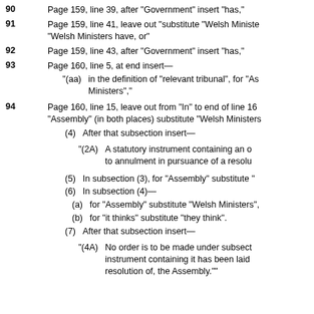90  Page 159, line 39, after "Government" insert "has,"
91  Page 159, line 41, leave out "substitute "Welsh Ministers" "Welsh Ministers have, or"
92  Page 159, line 43, after "Government" insert "has,"
93  Page 160, line 5, at end insert—
"(aa)  in the definition of "relevant tribunal", for "As Ministers","
94  Page 160, line 15, leave out from "In" to end of line 16 "Assembly" (in both places) substitute "Welsh Ministers"
(4)  After that subsection insert—
"(2A)  A statutory instrument containing an o to annulment in pursuance of a resolu
(5)  In subsection (3), for "Assembly" substitute "
(6)  In subsection (4)—
(a)  for "Assembly" substitute "Welsh Ministers",
(b)  for "it thinks" substitute "they think".
(7)  After that subsection insert—
"(4A)  No order is to be made under subsect instrument containing it has been laid resolution of, the Assembly.""